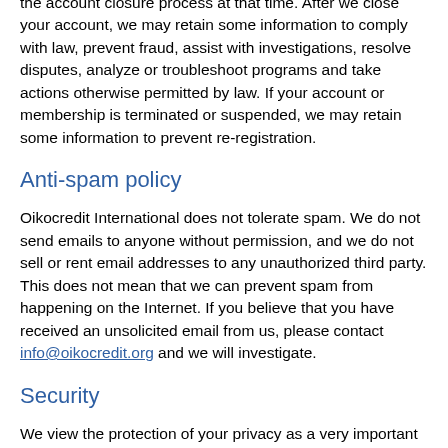the account closure process at that time. After we close your account, we may retain some information to comply with law, prevent fraud, assist with investigations, resolve disputes, analyze or troubleshoot programs and take actions otherwise permitted by law. If your account or membership is terminated or suspended, we may retain some information to prevent re-registration.
Anti-spam policy
Oikocredit International does not tolerate spam. We do not send emails to anyone without permission, and we do not sell or rent email addresses to any unauthorized third party. This does not mean that we can prevent spam from happening on the Internet. If you believe that you have received an unsolicited email from us, please contact info@oikocredit.org and we will investigate.
Security
We view the protection of your privacy as a very important principle. We store and process your information on computers that are protected by physical as well as technological security